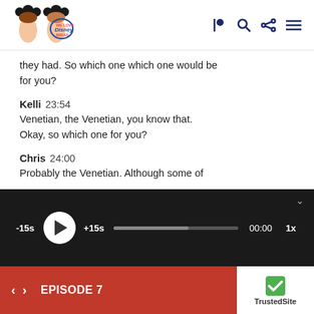We love Disney Bread podcast logo and navigation icons
they had. So which one which one would be for you?
Kelli  23:54
Venetian, the Venetian, you know that. Okay, so which one for you?
Chris  24:00
Probably the Venetian. Although some of
[Figure (screenshot): Audio player bar with -15s skip, play button, +15s skip, progress bar, time 00:00, and 1x speed controls on dark background]
EPISODE 7  TrustedSite